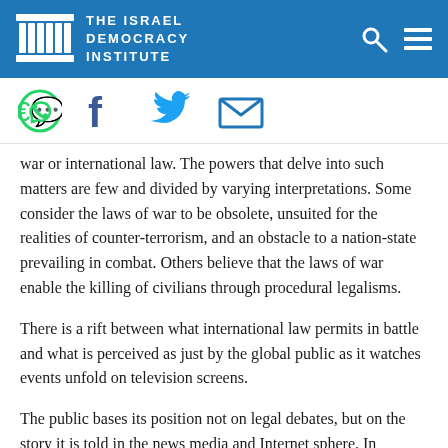THE ISRAEL DEMOCRACY INSTITUTE
[Figure (logo): Israel Democracy Institute logo with temple column icon and social sharing icons (WhatsApp, Facebook, Twitter, Email)]
war or international law. The powers that delve into such matters are few and divided by varying interpretations. Some consider the laws of war to be obsolete, unsuited for the realities of counter-terrorism, and an obstacle to a nation-state prevailing in combat. Others believe that the laws of war enable the killing of civilians through procedural legalisms.
There is a rift between what international law permits in battle and what is perceived as just by the global public as it watches events unfold on television screens.
The public bases its position not on legal debates, but on the story it is told in the news media and Internet sphere. In